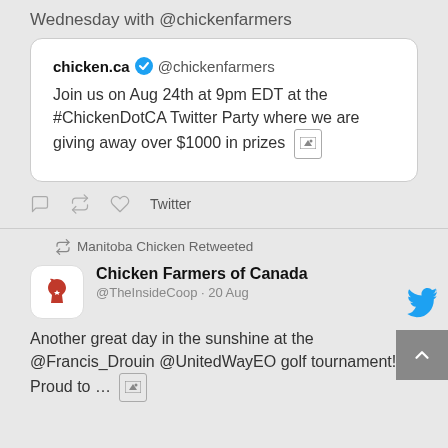Wednesday with @chickenfarmers
chicken.ca ✓ @chickenfarmers
Join us on Aug 24th at 9pm EDT at the #ChickenDotCA Twitter Party where we are giving away over $1000 in prizes [image]
Twitter
Manitoba Chicken Retweeted
Chicken Farmers of Canada
@TheInsideCoop · 20 Aug
Another great day in the sunshine at the @Francis_Drouin @UnitedWayEO golf tournament! Proud to ... [image]